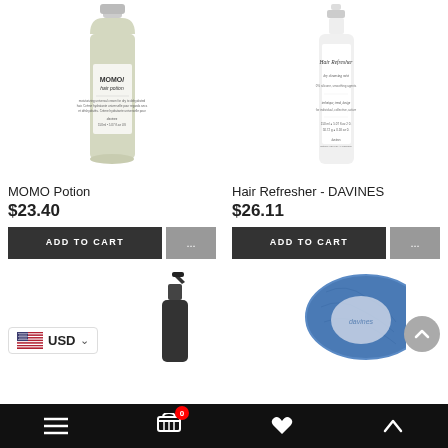[Figure (photo): MOMO hair potion bottle by Davines, light green/beige color with white label]
MOMO Potion
$23.40
[Figure (photo): Hair Refresher by Davines, white spray bottle with script text label]
Hair Refresher - DAVINES
$26.11
[Figure (photo): Small black spray bottle, partially visible at bottom]
[Figure (photo): Blue patterned item partially visible at bottom right]
USD
Navigation bar with menu, cart (0), favorites, and scroll-up icons